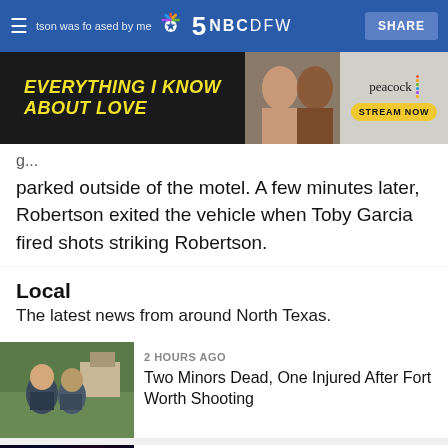NBC 5 NBCDFW — SHARE
[Figure (screenshot): Peacock advertisement banner: 'Everything I Know About Love' — Stream Now]
parked outside of the motel. A few minutes later, Robertson exited the vehicle when Toby Garcia fired shots striking Robertson.
Local
The latest news from around North Texas.
[Figure (photo): Two police officers standing outside during press briefing]
2 HOURS AGO
Two Minors Dead, One Injured After Fort Worth Shooting
[Figure (photo): Police car with blue and red lights flashing at night]
5 HOURS AGO
Man Dies After Being Found Shot Behind Shed in Dallas: Police